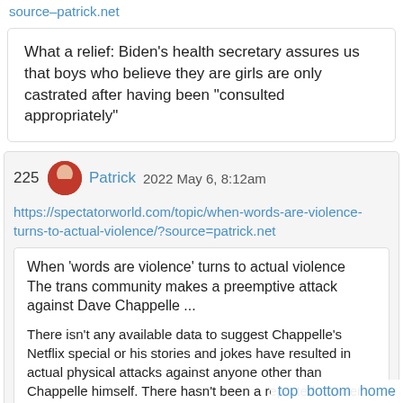source–patrick.net
What a relief: Biden's health secretary assures us that boys who believe they are girls are only castrated after having been "consulted appropriately"
225  Patrick  2022 May 6, 8:12am
https://spectatorworld.com/topic/when-words-are-violence-turns-to-actual-violence/?source=patrick.net
When 'words are violence' turns to actual violence
The trans community makes a preemptive attack against Dave Chappelle ...
There isn't any available data to suggest Chappelle's Netflix special or his stories and jokes have resulted in actual physical attacks against anyone other than Chappelle himself. There hasn't been a reported murder or suicide that has implicated Chappelle or
top  bottom  home